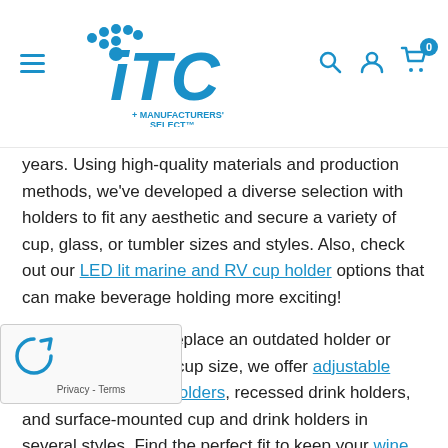ITC + Manufacturers' Select — navigation header with logo, search, account, and cart icons
years. Using high-quality materials and production methods, we've developed a diverse selection with holders to fit any aesthetic and secure a variety of cup, glass, or tumbler sizes and styles. Also, check out our LED lit marine and RV cup holder options that can make beverage holding more exciting!
Whether looking to replace an outdated holder or upgrade to fit a new cup size, we offer adjustable wall-mounted drink holders, recessed drink holders, and surface-mounted cup and drink holders in several styles. Find the perfect fit to keep your wine glass or YETI secure and choose from finishes including stainless steel or plastic depending on the installation
[Figure (other): reCAPTCHA widget overlay with Privacy - Terms text]